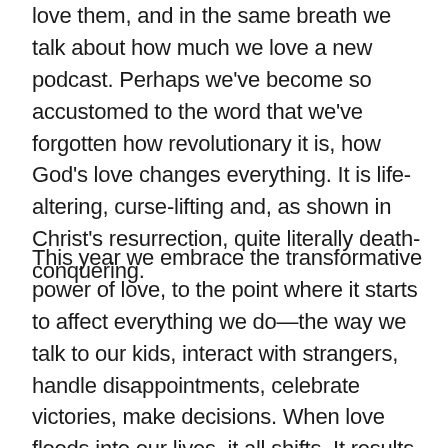love them, and in the same breath we talk about how much we love a new podcast. Perhaps we've become so accustomed to the word that we've forgotten how revolutionary it is, how God's love changes everything. It is life-altering, curse-lifting and, as shown in Christ's resurrection, quite literally death-conquering.
This year we embrace the transformative power of love, to the point where it starts to affect everything we do—the way we talk to our kids, interact with strangers, handle disappointments, celebrate victories, make decisions. When love floods into our lives, it all shifts. It results in less doom-scrolling, more conversation.